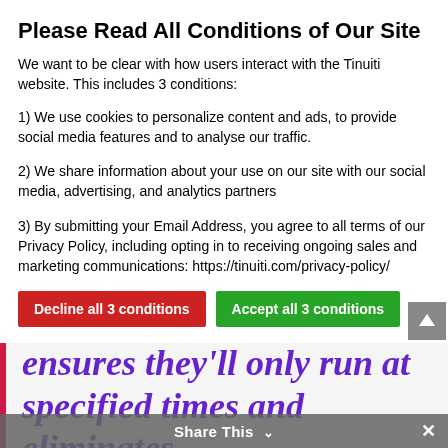Please Read All Conditions of Our Site
We want to be clear with how users interact with the Tinuiti website. This includes 3 conditions:
1) We use cookies to personalize content and ads, to provide social media features and to analyse our traffic.
2) We share information about your use on our site with our social media, advertising, and analytics partners
3) By submitting your Email Address, you agree to all terms of our Privacy Policy, including opting in to receiving ongoing sales and marketing communications: https://tinuiti.com/privacy-policy/
Decline all 3 conditions | Accept all 3 conditions | Show details
really important because it ensures they'll only run at specified times and eliminates the possibility of sending conflicting messaging, not to
Share This